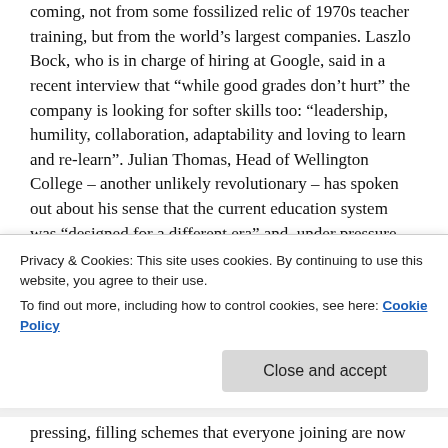coming, not from some fossilized relic of 1970s teacher training, but from the world's largest companies. Laszlo Bock, who is in charge of hiring at Google, said in a recent interview that “while good grades don’t hurt” the company is looking for softer skills too: “leadership, humility, collaboration, adaptability and loving to learn and re-learn”. Julian Thomas, Head of Wellington College – another unlikely revolutionary – has spoken out about his sense that the current education system was “designed for a different era” and, under pressure from constant testing, has squeezed creativity out of the curriculum. Tony Little, former Master of Eton College, has written about the dangers that wider intellectual development is being stifled by an all-encompassing obsession with
Privacy & Cookies: This site uses cookies. By continuing to use this website, you agree to their use.
To find out more, including how to control cookies, see here: Cookie Policy
pressing, filling schemes that everyone joining are now